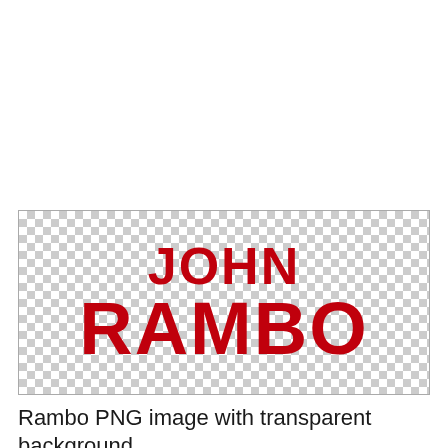[Figure (illustration): Image of text 'JOHN RAMBO' in bold red letters on a transparent (checkerboard) background, shown within a bordered rectangle.]
Rambo PNG image with transparent background